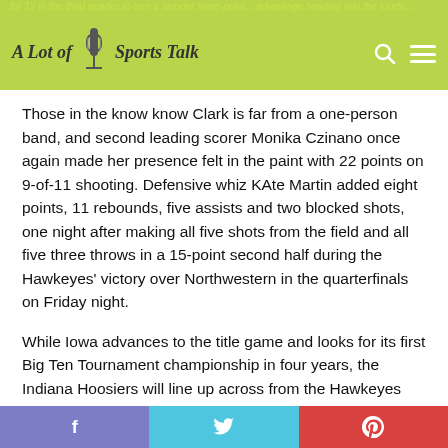A Lot of Sports Talk
Those in the know know Clark is far from a one-person band, and second leading scorer Monika Czinano once again made her presence felt in the paint with 22 points on 9-of-11 shooting. Defensive whiz KAte Martin added eight points, 11 rebounds, five assists and two blocked shots, one night after making all five shots from the field and all five three throws in a 15-point second half during the Hawkeyes' victory over Northwestern in the quarterfinals on Friday night.
While Iowa advances to the title game and looks for its first Big Ten Tournament championship in four years, the Indiana Hoosiers will line up across from the Hawkeyes looking for their first title in 20 years. The No. 5 seed Hoosiers pulled off their second seed upset of the tournament, taking down the
f  t  p